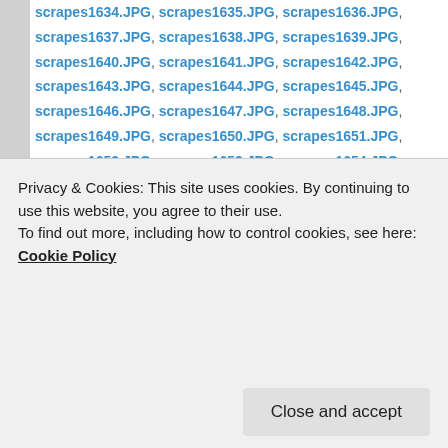scrapes1634.JPG, scrapes1635.JPG, scrapes1636.JPG, scrapes1637.JPG, scrapes1638.JPG, scrapes1639.JPG, scrapes1640.JPG, scrapes1641.JPG, scrapes1642.JPG, scrapes1643.JPG, scrapes1644.JPG, scrapes1645.JPG, scrapes1646.JPG, scrapes1647.JPG, scrapes1648.JPG, scrapes1649.JPG, scrapes1650.JPG, scrapes1651.JPG, scrapes1652.JPG, scrapes1653.JPG, scrapes1654.JPG, scrapes1655.JPG, scrapes1656.JPG, scrapes1657.JPG, scrapes1658.JPG, scrapes1659.JPG, scrapes1660.JPG, scrapes1661.JPG, scrapes1662.JPG, scrapes1663.JPG, scrapes1664.JPG, scrapes1665.JPG, scrapes1666.JPG, scrapes1667.JPG, scrapes1668.JPG, scrapes1669.JPG, scrapes1670.JPG, scrapes1671.JPG, scrapes1672.JPG, scrapes1673.JPG, scrapes1674.JPG, scrapes1675.JPG, scrapes1676.JPG, scrapes1677.JPG, scrapes1678.JPG, scrapes1679.JPG, scrapes1680.JPG, scrapes1681.JPG, scrapes1682.JPG, scrapes1683.JPG, scrapes1684.JPG
Privacy & Cookies: This site uses cookies. By continuing to use this website, you agree to their use. To find out more, including how to control cookies, see here: Cookie Policy
scrapes1700.JPG, scrapes1701.JPG, scrapes1702.JPG